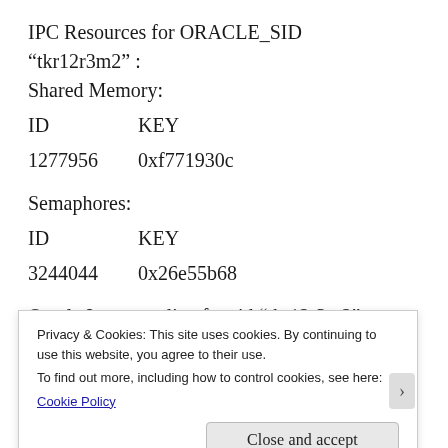IPC Resources for ORACLE_SID “tkr12r3m2” :
Shared Memory:
| ID | KEY |
| --- | --- |
| 1277956 | 0xf771930c |
Semaphores:
| ID | KEY |
| --- | --- |
| 3244044 | 0x26e55b68 |
Oracle Instance alive for sid “tkr12r3m2”
If the instance is not alive you can remove the shared memory segments and semaphores using ipcrm command
Privacy & Cookies: This site uses cookies. By continuing to use this website, you agree to their use.
To find out more, including how to control cookies, see here:
Cookie Policy
Close and accept